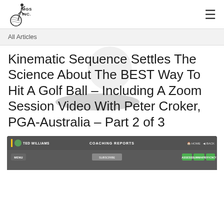MGS INC.
All Articles
Kinematic Sequence Settles The Science About The BEST Way To Hit A Golf Ball – Including A Zoom Session Video With Peter Croker, PGA-Australia – Part 2 of 3
[Figure (screenshot): Screenshot of a coaching report interface showing 'TED WILLIAMS' user, 'COACHING REPORTS' header, with HOME and BACK navigation buttons, and MENU, ASSESS, SUMMARY, EFFICIENCY buttons in a dark gray UI.]